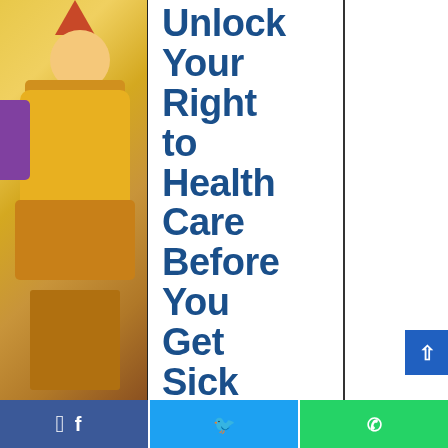[Figure (illustration): Decorative image strip on the left showing a colorful costumed figure/character with yellow, purple, and red elements]
Unlock Your Right to Health Care Before You Get Sick
1-646-NYC-CARE
[Figure (illustration): Scroll-to-top button, blue square with upward arrow]
[Figure (infographic): Social sharing bar at bottom with Facebook (blue), Twitter (light blue), and WhatsApp (green) icons]